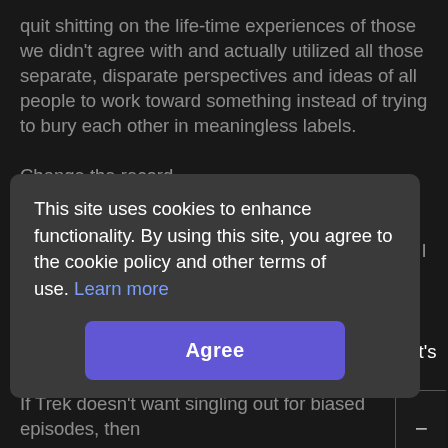quit shitting on the life-time experiences of those we didn't agree with and actually utilized all those separate, disparate perspectives and ideas of all people to work toward something instead of trying to bury each other in meaningless labels.

Change the record.

(All that said, maybe you disagree, but it would be pointless to tell me I'm being foolish. Perhaps I am, and maybe I'll experience something later in life that'll completely change my view, as several people have noted in regards to Jelico in this episode Why bother labeling
This site uses cookies to enhance functionality. By using this site, you agree to the cookie policy and other terms of use. Learn more
Agree
If Trek doesn't want singling out for biased episodes, then